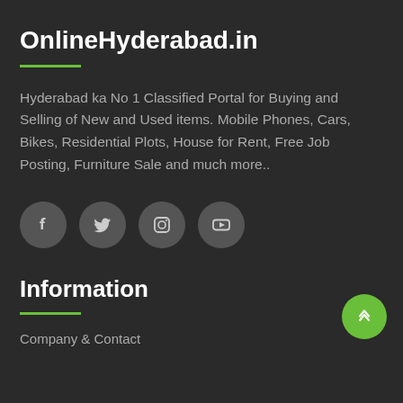OnlineHyderabad.in
Hyderabad ka No 1 Classified Portal for Buying and Selling of New and Used items. Mobile Phones, Cars, Bikes, Residential Plots, House for Rent, Free Job Posting, Furniture Sale and much more..
[Figure (infographic): Row of four social media icon buttons (Facebook, Twitter, Instagram, YouTube) as dark grey circles on dark background]
Information
Company & Contact